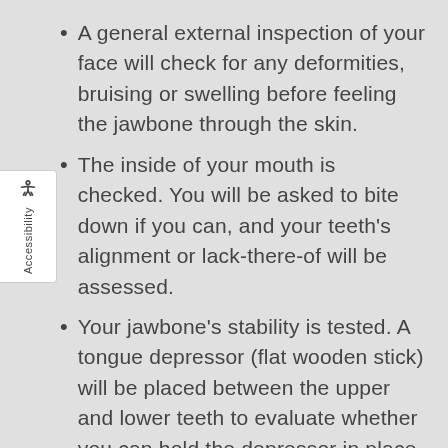A general external inspection of your face will check for any deformities, bruising or swelling before feeling the jawbone through the skin.
The inside of your mouth is checked. You will be asked to bite down if you can, and your teeth's alignment or lack-there-of will be assessed.
Your jawbone's stability is tested. A tongue depressor (flat wooden stick) will be placed between the upper and lower teeth to evaluate whether you can hold the depressor in place.